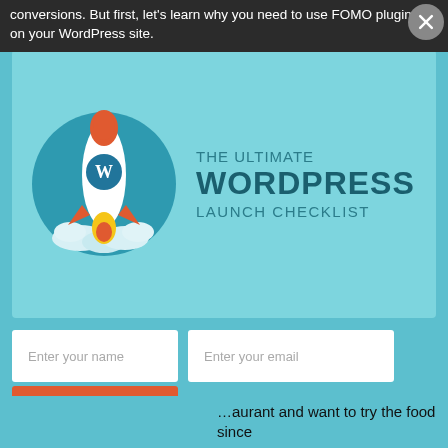conversions. But first, let's learn why you need to use FOMO plugins on your WordPress site.
[Figure (illustration): A popup modal with a rocket illustration on the left and text 'THE ULTIMATE WORDPRESS LAUNCH CHECKLIST' on the right, on a teal background. Below the modal are two input fields (Enter your name, Enter your email) and a red Download Now button.]
...aurant and want to try the food since